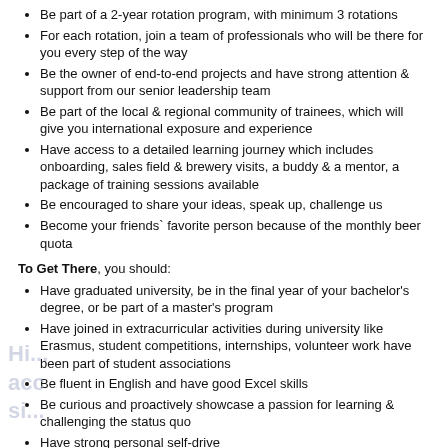Be part of a 2-year rotation program, with minimum 3 rotations
For each rotation, join a team of professionals who will be there for you every step of the way
Be the owner of end-to-end projects and have strong attention & support from our senior leadership team
Be part of the local & regional community of trainees, which will give you international exposure and experience
Have access to a detailed learning journey which includes onboarding, sales field & brewery visits, a buddy & a mentor, a package of training sessions available
Be encouraged to share your ideas, speak up, challenge us
Become your friends` favorite person because of the monthly beer quota
To Get There, you should:
Have graduated university, be in the final year of your bachelor's degree, or be part of a master's program
Have joined in extracurricular activities during university like Erasmus, student competitions, internships, volunteer work have been part of student associations
Be fluent in English and have good Excel skills
Be curious and proactively showcase a passion for learning & challenging the status quo
Have strong personal self-drive
Like to work as part of a team, but you know when to step up and lead
We can work together if:
You apply, obviously
Have a phone interview & an assessment
Have an interview with us, one colleague from HR & one colleague from the business department of the area you have chosen